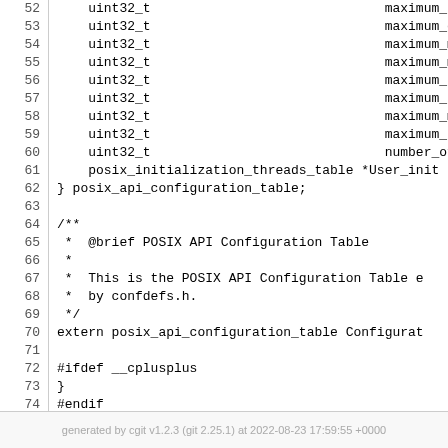Code listing lines 52-77: C header file with posix_api_configuration_table struct and related declarations
generated by cgit v1.2.3 (git 2.25.1) at 2022-08-23 17:59:55 +0000